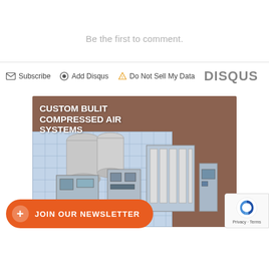Be the first to comment.
Subscribe   Add Disqus   Do Not Sell My Data   DISQUS
[Figure (photo): Advertisement for Atlas Copco custom built compressed air systems showing industrial compressor equipment rendered on a blueprint drawing, with text 'CUSTOM BULIT COMPRESSED AIR SYSTEMS' overlaid in white bold text on a brown/wood background.]
+ JOIN OUR NEWSLETTER